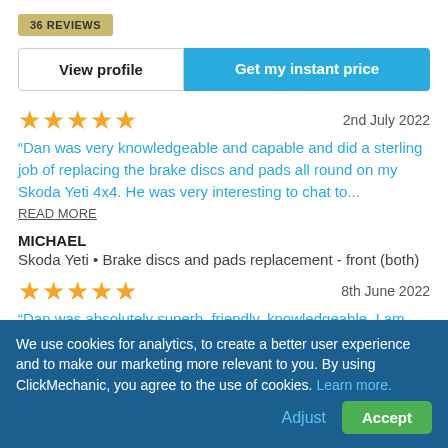36 REVIEWS
View profile
Get my instant price
[Figure (other): Five gold star rating]
2nd July 2022
“Dan was very knowledgeable and capable and did a sterling job of replacing the brake discs and pads all round on my Skoda Yeti 4x4. He was very interesting to chat to...
READ MORE
MICHAEL
Skoda Yeti • Brake discs and pads replacement - front (both)
[Figure (other): Five gold star rating]
8th June 2022
“Dan was absolutely superb, friendly, knowledgeable. I am
We use cookies for analytics, to create a better user experience and to make our marketing more relevant to you. By using ClickMechanic, you agree to the use of cookies. Learn more.
Adjust
Accept